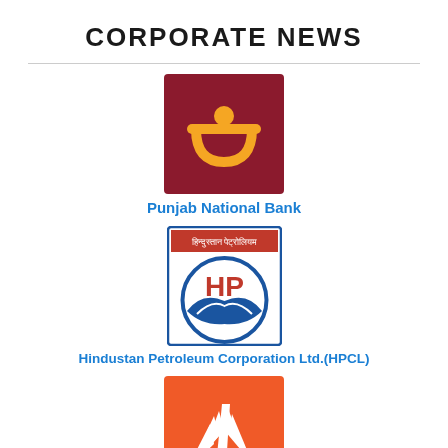CORPORATE NEWS
[Figure (logo): Punjab National Bank logo - dark red/maroon square with golden PNB symbol]
Punjab National Bank
[Figure (logo): Hindustan Petroleum Corporation Ltd (HPCL) logo - circular blue and red HP emblem with Hindi text banner]
Hindustan Petroleum Corporation Ltd.(HPCL)
[Figure (logo): Bank of Baroda logo - orange square with white stylized B/sun ray symbol]